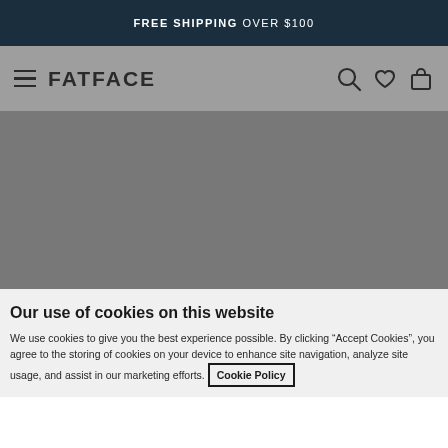FREE SHIPPING OVER $100
[Figure (logo): FatFace website navigation bar with hamburger menu, FATFACE logo, search icon, heart/wishlist icon, and shopping bag icon]
[Figure (photo): Gray placeholder image area for website content]
Our use of cookies on this website
We use cookies to give you the best experience possible. By clicking "Accept Cookies", you agree to the storing of cookies on your device to enhance site navigation, analyze site usage, and assist in our marketing efforts. Cookie Policy